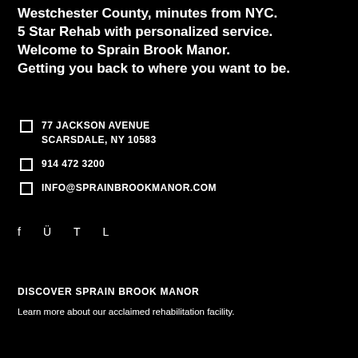Westchester County, minutes from NYC. 5 Star Rehab with personalized service. Welcome to Sprain Brook Manor. Getting you back to where you want to be.
77 JACKSON AVENUE SCARSDALE, NY 10583
914 472 3200
INFO@SPRAINBROOKMANOR.COM
f Ü T L
DISCOVER SPRAIN BROOK MANOR
Learn more about our acclaimed rehabilitation facility.